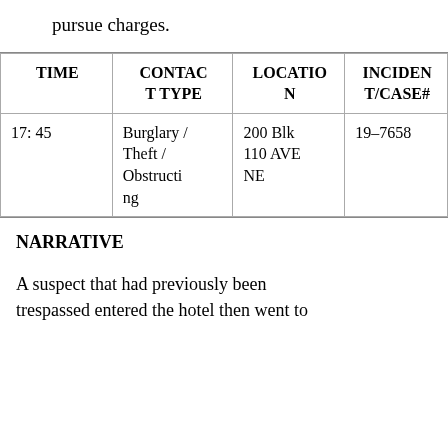pursue charges.
| TIME | CONTACT TYPE | LOCATION | INCIDENT/CASE# |
| --- | --- | --- | --- |
| 17: 45 | Burglary / Theft / Obstructing | 200 Blk 110 AVE NE | 19-7658 |
NARRATIVE
A suspect that had previously been trespassed entered the hotel then went to